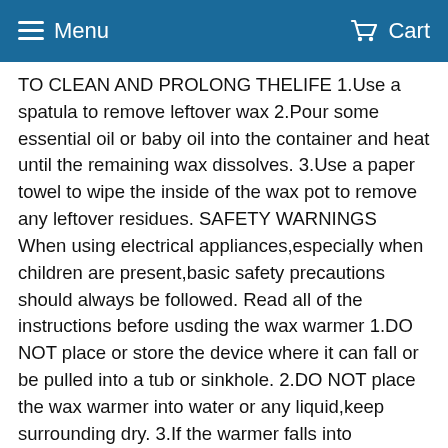Menu  Cart
TO CLEAN AND PROLONG THELIFE 1.Use a spatula to remove leftover wax 2.Pour some essential oil or baby oil into the container and heat until the remaining wax dissolves. 3.Use a paper towel to wipe the inside of the wax pot to remove any leftover residues. SAFETY WARNINGS When using electrical appliances,especially when children are present,basic safety precautions should always be followed. Read all of the instructions before usding the wax warmer 1.DO NOT place or store the device where it can fall or be pulled into a tub or sinkhole. 2.DO NOT place the wax warmer into water or any liquid,keep surrounding dry. 3.If the warmer falls into water,unplug it immediately.DO NOT reach into the water. (As with all electrical devices,electrical parts are electrically alive even when the switch is off ,always use caution).